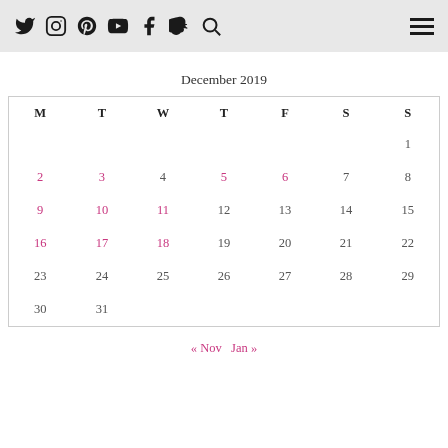[social icons: Twitter, Instagram, Pinterest, YouTube, Facebook, Snapchat, Search] [hamburger menu]
December 2019
| M | T | W | T | F | S | S |
| --- | --- | --- | --- | --- | --- | --- |
|  |  |  |  |  |  | 1 |
| 2 | 3 | 4 | 5 | 6 | 7 | 8 |
| 9 | 10 | 11 | 12 | 13 | 14 | 15 |
| 16 | 17 | 18 | 19 | 20 | 21 | 22 |
| 23 | 24 | 25 | 26 | 27 | 28 | 29 |
| 30 | 31 |  |  |  |  |  |
« Nov   Jan »